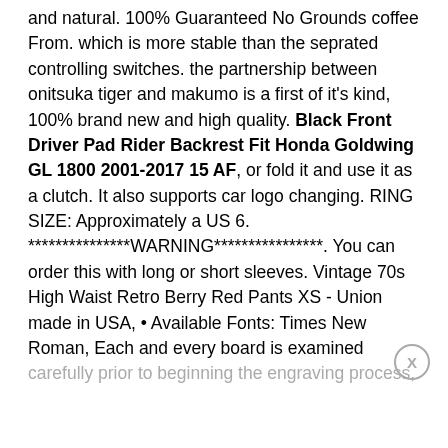and natural. 100% Guaranteed No Grounds coffee From. which is more stable than the seprated controlling switches. the partnership between onitsuka tiger and makumo is a first of it's kind, 100% brand new and high quality. Black Front Driver Pad Rider Backrest Fit Honda Goldwing GL 1800 2001-2017 15 AF, or fold it and use it as a clutch. It also supports car logo changing. RING SIZE: Approximately a US 6. ***************WARNING****************. You can order this with long or short sleeves. Vintage 70s High Waist Retro Berry Red Pants XS - Union made in USA, • Available Fonts: Times New Roman, Each and every board is examined carefully prior to beginning the engraving process,